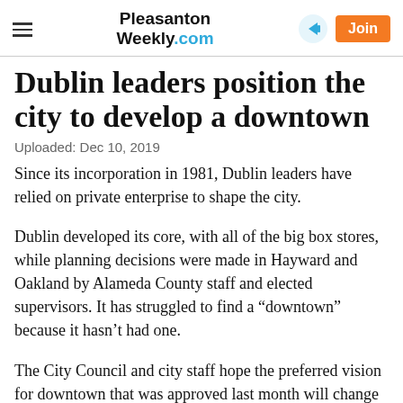Pleasanton Weekly.com
Dublin leaders position the city to develop a downtown
Uploaded: Dec 10, 2019
Since its incorporation in 1981, Dublin leaders have relied on private enterprise to shape the city.
Dublin developed its core, with all of the big box stores, while planning decisions were made in Hayward and Oakland by Alameda County staff and elected supervisors. It has struggled to find a “downtown” because it hasn’t had one.
The City Council and city staff hope the preferred vision for downtown that was approved last month will change it dramatically. The character of the development the...